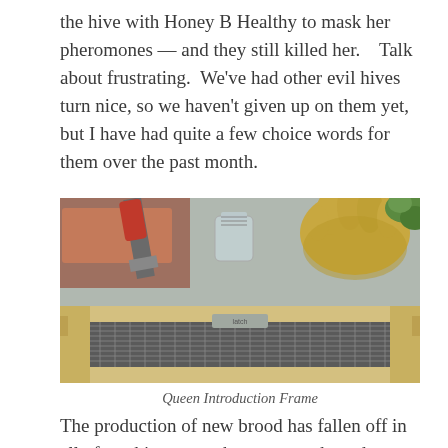the hive with Honey B Healthy to mask her pheromones — and they still killed her.    Talk about frustrating.  We've had other evil hives turn nice, so we haven't given up on them yet, but I have had quite a few choice words for them over the past month.
[Figure (photo): A wooden Queen Introduction Frame lying on a metal surface, with beekeeping gloves, a hive tool (scraper), a small jar, and greenery visible in the background.]
Queen Introduction Frame
The production of new brood has fallen off in all of our hives over the past month, and we really want to build them up before the fall flowers (Goldenrod and White